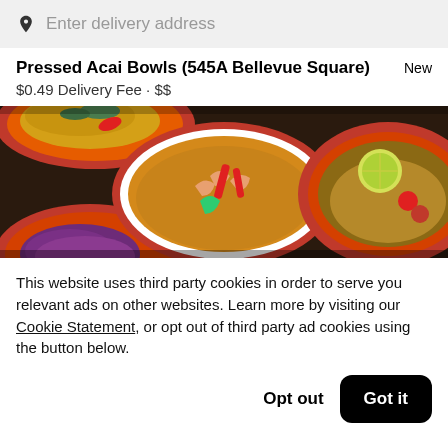Enter delivery address
Pressed Acai Bowls (545A Bellevue Square)  New
$0.49 Delivery Fee • $$
[Figure (photo): Photo of multiple bowls of food including a white bowl with shrimp and red peppers in broth, red bowls with various Asian dishes, on a dark wooden surface.]
This website uses third party cookies in order to serve you relevant ads on other websites. Learn more by visiting our Cookie Statement, or opt out of third party ad cookies using the button below.
Opt out   Got it